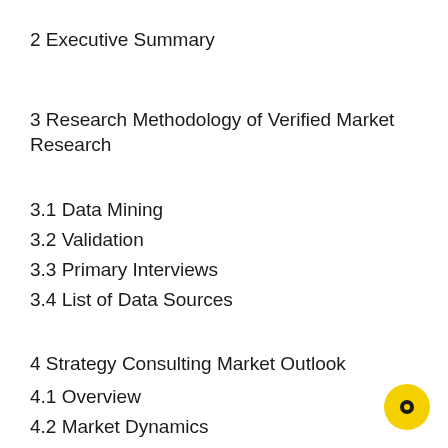2 Executive Summary
3 Research Methodology of Verified Market Research
3.1 Data Mining
3.2 Validation
3.3 Primary Interviews
3.4 List of Data Sources
4 Strategy Consulting Market Outlook
4.1 Overview
4.2 Market Dynamics